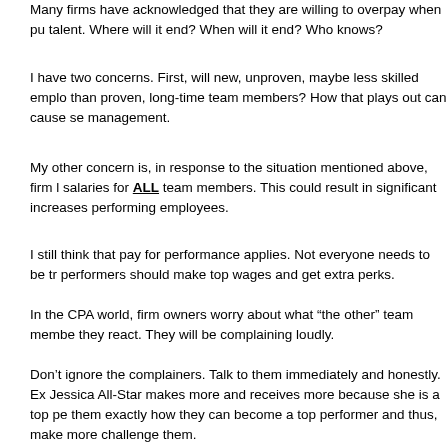Many firms have acknowledged that they are willing to overpay when pu talent. Where will it end? When will it end? Who knows?
I have two concerns. First, will new, unproven, maybe less skilled emplo than proven, long-time team members? How that plays out can cause se management.
My other concern is, in response to the situation mentioned above, firm l salaries for ALL team members. This could result in significant increases performing employees.
I still think that pay for performance applies. Not everyone needs to be tr performers should make top wages and get extra perks.
In the CPA world, firm owners worry about what “the other” team membe they react. They will be complaining loudly.
Don’t ignore the complainers. Talk to them immediately and honestly. Ex Jessica All-Star makes more and receives more because she is a top pe them exactly how they can become a top performer and thus, make more challenge them.
You have probably read where KPMG is allocating $160M in salary incre employees. Their CEO said: